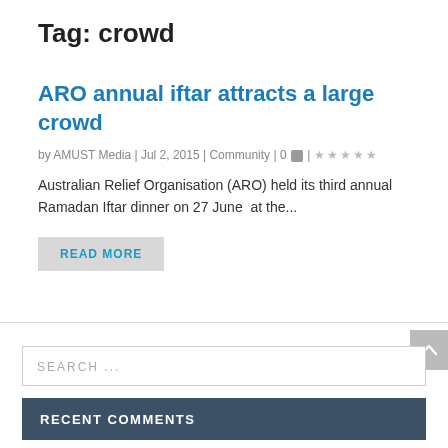Tag: crowd
ARO annual iftar attracts a large crowd
by AMUST Media | Jul 2, 2015 | Community | 0 💬 | ☆☆☆☆☆
Australian Relief Organisation (ARO) held its third annual Ramadan Iftar dinner on 27 June  at the...
READ MORE
SEARCH ...
RECENT COMMENTS